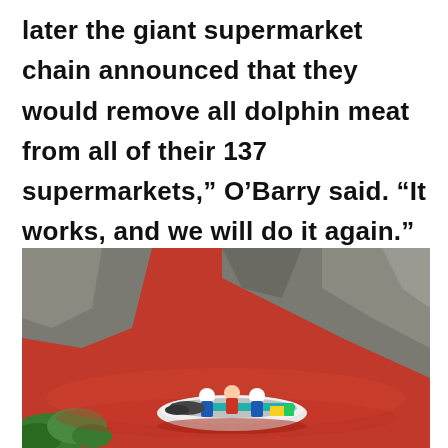later the giant supermarket chain announced that they would remove all dolphin meat from all of their 137 supermarkets,” O’Barry said. “It works, and we will do it again.”
[Figure (photo): A photograph showing a blood-red ocean cove with rocky cliffs in the background. A small motorboat with people in blue jackets is visible in the red water, with green vegetation in the lower left corner.]